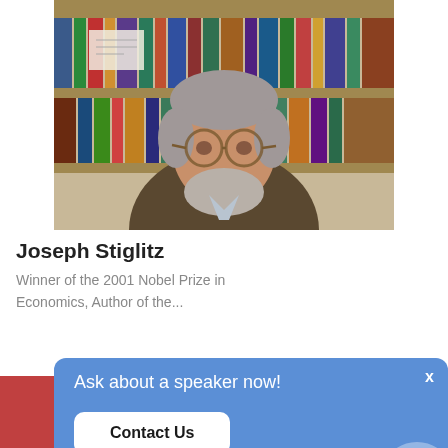[Figure (photo): Portrait photo of Joseph Stiglitz, an older man with gray hair and beard wearing glasses, seated in front of a bookshelf]
Joseph Stiglitz
Winner of the 2001 Nobel Prize in Economics, Author of the...
FULL PROFILE
[Figure (photo): Partially visible photo at bottom of page, cropped]
Ask about a speaker now!
Contact Us